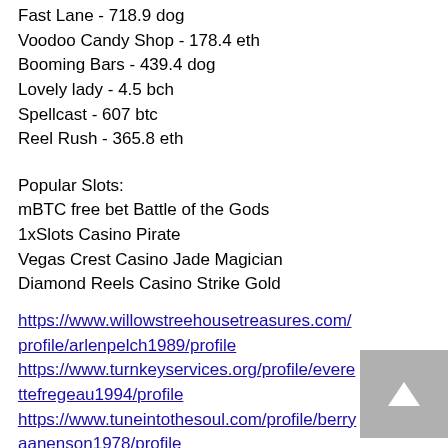Fast Lane - 718.9 dog
Voodoo Candy Shop - 178.4 eth
Booming Bars - 439.4 dog
Lovely lady - 4.5 bch
Spellcast - 607 btc
Reel Rush - 365.8 eth
Popular Slots:
mBTC free bet Battle of the Gods
1xSlots Casino Pirate
Vegas Crest Casino Jade Magician
Diamond Reels Casino Strike Gold
https://www.willowstreehousetreasures.com/profile/arlenpelch1989/profile
https://www.turnkeyservices.org/profile/everettefregeau1994/profile
https://www.tuneintothesoul.com/profile/berryanenson1978/profile
https://www.californiadesignfirm.com/profile/deeannachruch1984/profile